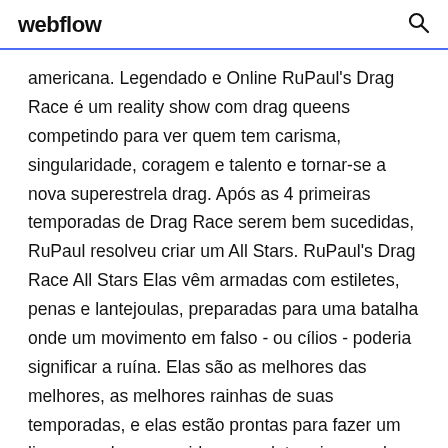webflow
americana. Legendado e Online RuPaul's Drag Race é um reality show com drag queens competindo para ver quem tem carisma, singularidade, coragem e talento e tornar-se a nova superestrela drag. Após as 4 primeiras temporadas de Drag Race serem bem sucedidas, RuPaul resolveu criar um All Stars. RuPaul's Drag Race All Stars Elas vêm armadas com estiletes, penas e lantejoulas, preparadas para uma batalha onde um movimento em falso - ou cílios - poderia significar a ruína. Elas são as melhores das melhores, as melhores rainhas de suas temporadas, e elas estão prontas para fazer um lip sync pelas suas vidas para determinar qual Titulo: RuPaul's Drag Race All